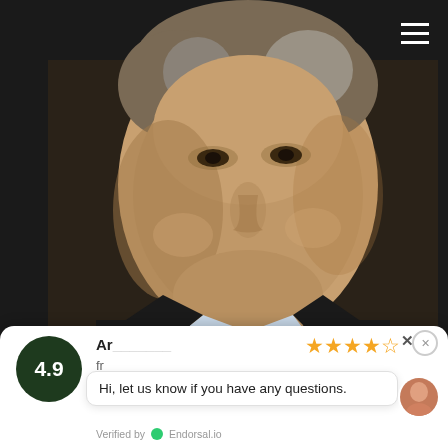[Figure (photo): Close-up portrait photo of a middle-aged man with grey-brown hair, smiling, wearing a dark jacket and light blue shirt, photographed against a dark background]
4.9
Ar...
fr...
Hi, let us know if you have any questions.
Verified by Endorsal.io